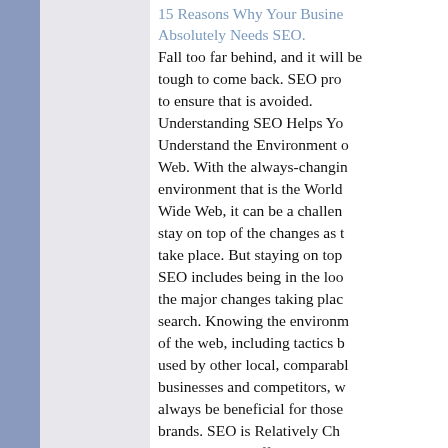15 Reasons Why Your Business Absolutely Needs SEO.
Fall too far behind, and it will be tough to come back. SEO provides to ensure that is avoided. Understanding SEO Helps You Understand the Environment of the Web. With the always-changing environment that is the World Wide Web, it can be a challenge to stay on top of the changes as they take place. But staying on top of SEO includes being in the loop for the major changes taking place in search. Knowing the environment of the web, including tactics being used by other local, comparable businesses and competitors, will always be beneficial for those brands. SEO is Relatively Cheap and Very Cost-Effective. Sure, it costs money. But all the best things do, right? SEO is relatively inexpensive in the grand scheme of things, and the afford will